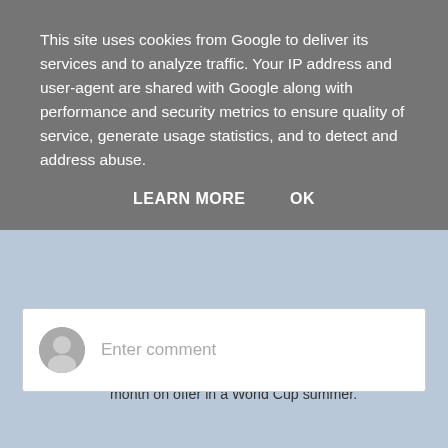This site uses cookies from Google to deliver its services and to analyze traffic. Your IP address and user-agent are shared with Google along with performance and security metrics to ensure quality of service, generate usage statistics, and to detect and address abuse.
LEARN MORE    OK
month on offer in a World Cup summer.
Middlesbrough is a good halfway-house. If he plays to his potential, Boyd either gets into the Premiership with Middlesbrough, or proves himself good enough for a Premiership team to buy him next summer. It seems to have worked for Charlie Adam...
Reply
Enter comment